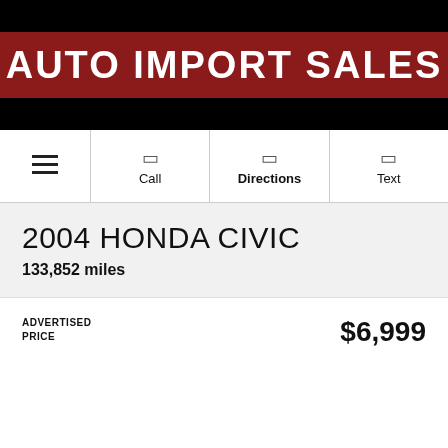AUTO IMPORT SALES
☰  Call  Directions  Text
2004 HONDA CIVIC
133,852 miles
ADVERTISED PRICE
$6,999